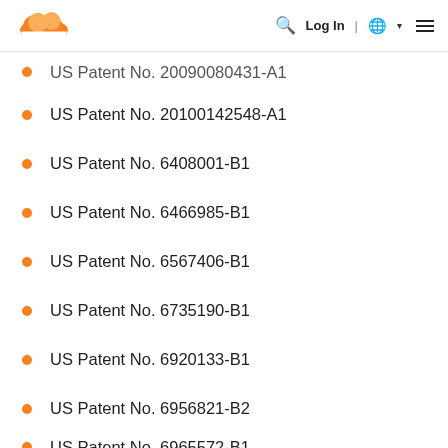Cloudflare logo | Search | Log In | Globe | Menu
US Patent No. 20090080431-A1
US Patent No. 20100142548-A1
US Patent No. 6408001-B1
US Patent No. 6466985-B1
US Patent No. 6567406-B1
US Patent No. 6735190-B1
US Patent No. 6920133-B1
US Patent No. 6956821-B2
US Patent No. 6965572-B1